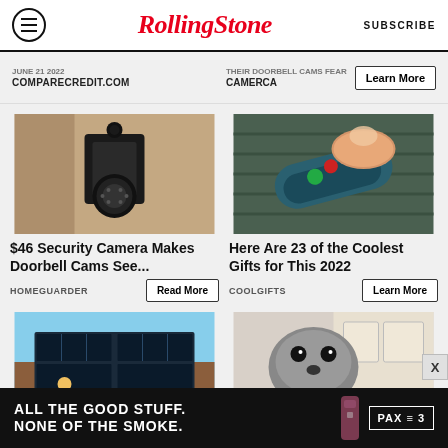Rolling Stone | SUBSCRIBE
[Figure (screenshot): Ad banner top: COMPARECREDIT.COM on left; CAMERCA with Learn More button on right]
[Figure (photo): Security camera mounted on wall lantern fixture]
$46 Security Camera Makes Doorbell Cams See...
HOMEGUARDER
[Figure (photo): Hand pressing button on a digital thermometer/device on carpet]
Here Are 23 of the Coolest Gifts for This 2022
COOLGIFTS
[Figure (photo): Solar panels installed on rooftop, worker in yellow shirt]
[Figure (photo): Dog looking at food/turkey, kitchen background]
[Figure (screenshot): Bottom advertisement banner: ALL THE GOOD STUFF. NONE OF THE SMOKE. PAX 3 logo]